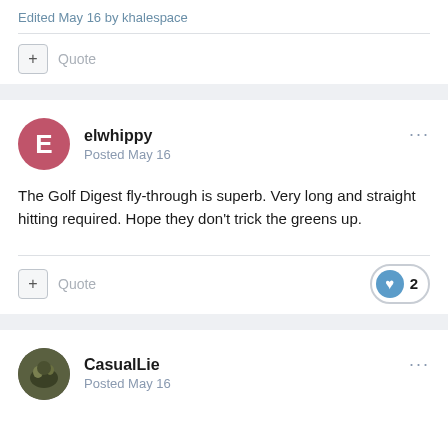Edited May 16 by khalespace
Quote
elwhippy
Posted May 16
The Golf Digest fly-through is superb. Very long and straight hitting required. Hope they don't trick the greens up.
Quote  2
CasualLie
Posted May 16